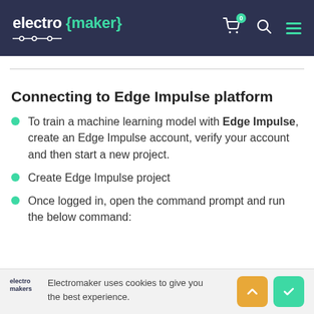electro {maker}
Connecting to Edge Impulse platform
To train a machine learning model with Edge Impulse, create an Edge Impulse account, verify your account and then start a new project.
Create Edge Impulse project
Once logged in, open the command prompt and run the below command:
Electromaker uses cookies to give you the best experience.